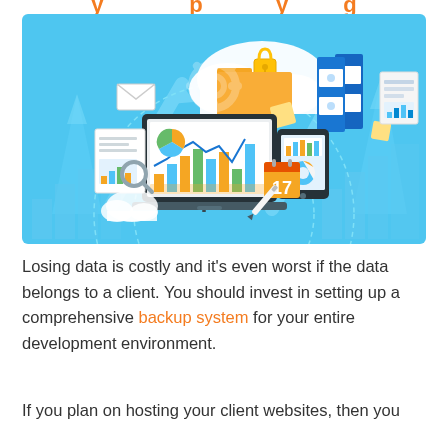[Figure (illustration): Cloud computing and data backup concept illustration on a light blue background. Shows a laptop with charts, a tablet, blue binders/folders, an orange folder, a padlock on a cloud, calendar showing 17, documents, magnifying glass, gears, upward-trending arrows, bar charts, and smaller cloud icons — representing data storage, security, and backup.]
Losing data is costly and it's even worst if the data belongs to a client. You should invest in setting up a comprehensive backup system for your entire development environment.
If you plan on hosting your client websites, then you